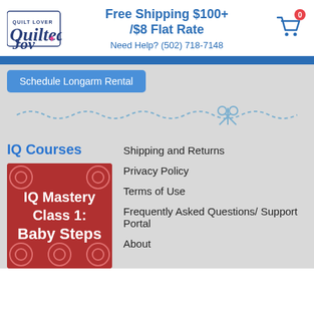[Figure (logo): Quilted Joy logo with text and fairy figure]
Free Shipping $100+ /$8 Flat Rate
Need Help? (502) 718-7148
[Figure (illustration): Shopping cart icon with 0 badge]
Schedule Longarm Rental
[Figure (illustration): Decorative dashed line with scissors divider]
IQ Courses
[Figure (illustration): IQ Mastery Class 1: Baby Steps course image with red floral background]
Shipping and Returns
Privacy Policy
Terms of Use
Frequently Asked Questions/ Support Portal
About